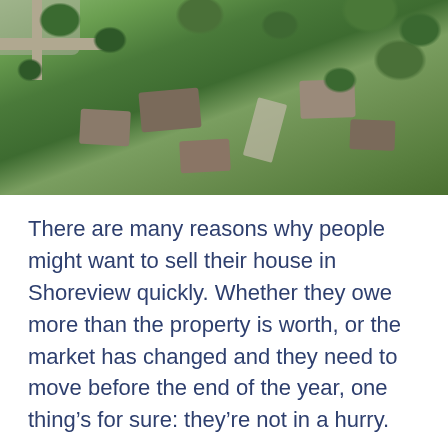[Figure (photo): Aerial drone photograph of a suburban neighborhood in Shoreview, MN showing residential houses with rooftops surrounded by lush green trees, driveways, and a road visible at the upper left with a parking lot or commercial area.]
There are many reasons why people might want to sell their house in Shoreview quickly. Whether they owe more than the property is worth, or the market has changed and they need to move before the end of the year, one thing's for sure: they're not in a hurry.
We buy houses in Shoreview, MN from